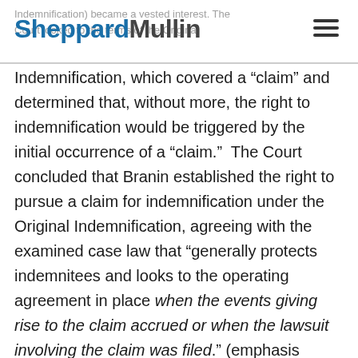Indemnification) became a vested interest. The Court looked to the terms of the Original — SheppardMullin [logo]
Indemnification, which covered a “claim” and determined that, without more, the right to indemnification would be triggered by the initial occurrence of a “claim.”  The Court concluded that Branin established the right to pursue a claim for indemnification under the Original Indemnification, agreeing with the examined case law that “generally protects indemnitees and looks to the operating agreement in place when the events giving rise to the claim accrued or when the lawsuit involving the claim was filed.” (emphasis added) See Branin at page 19.  The Court held that once a right to indemnification vests, it may not thereafter be rescinded by an amendment to the operating